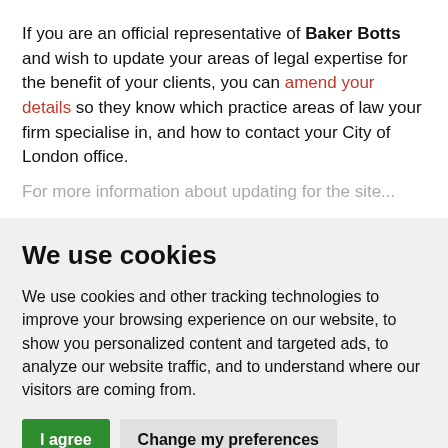If you are an official representative of Baker Botts and wish to update your areas of legal expertise for the benefit of your clients, you can amend your details so they know which practice areas of law your firm specialise in, and how to contact your City of London office.
For more information about updating for the site...
We use cookies
We use cookies and other tracking technologies to improve your browsing experience on our website, to show you personalized content and targeted ads, to analyze our website traffic, and to understand where our visitors are coming from.